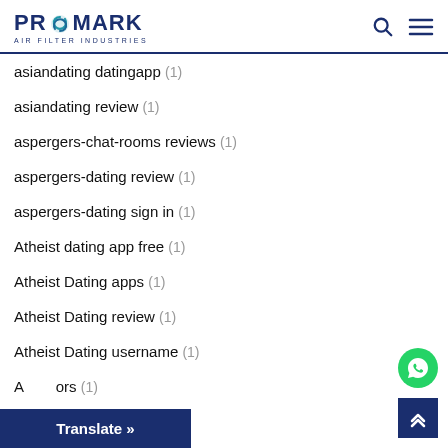PROMARK AIR FILTER INDUSTRIES
asiandating datingapp (1)
asiandating review (1)
aspergers-chat-rooms reviews (1)
aspergers-dating review (1)
aspergers-dating sign in (1)
Atheist dating app free (1)
Atheist Dating apps (1)
Atheist Dating review (1)
Atheist Dating username (1)
A...ors (1)